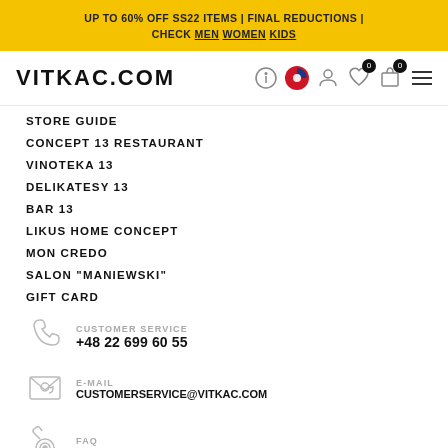UP TO 60% OFF SS22 ITEMS | FINAL REDUCTIONS | CHECK MEN WOMEN KIDS
VITKAC.COM
STORE GUIDE
CONCEPT 13 RESTAURANT
VINOTEKA 13
DELIKATESY 13
BAR 13
LIKUS HOME CONCEPT
MON CREDO
SALON "MANIEWSKI"
GIFT CARD
CUSTOMER SERVICE
+48 22 699 60 55
E-MAIL
CUSTOMERSERVICE@VITKAC.COM
FAQ